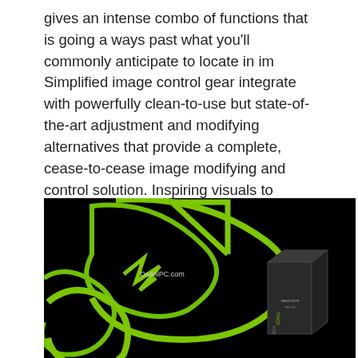gives an intense combo of functions that is going a ways past what you'll commonly anticipate to locate in im Simplified image control gear integrate with powerfully clean-to-use but state-of-the-art adjustment and modifying alternatives that provide a complete, cease-to-cease image modifying and control solution. Inspiring visuals to Allure your Eyes: The utility's…
[Figure (photo): Dark/black background image showing large green arrow/logo outlines with a software product box visible on the right side. A watermark text 'DaaniPC.com' appears near the center of the image.]